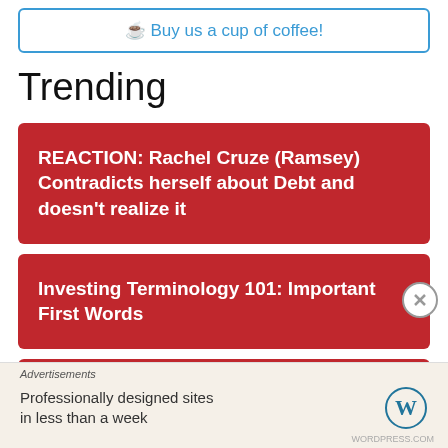☕ Buy us a cup of coffee!
Trending
REACTION: Rachel Cruze (Ramsey) Contradicts herself about Debt and doesn't realize it
Investing Terminology 101: Important First Words
Advertisements
Professionally designed sites in less than a week